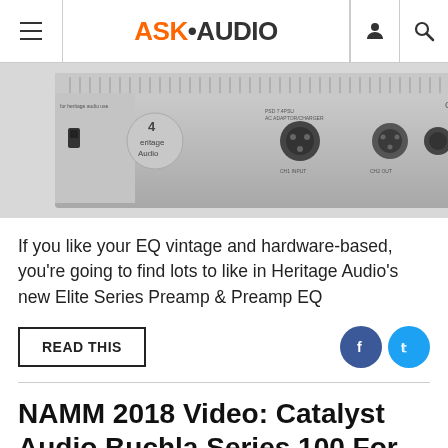ASK•AUDIO
[Figure (photo): Rear panel of Heritage Audio rack unit showing XLR connectors and Heritage Audio logo on silver/gray metal chassis]
If you like your EQ vintage and hardware-based, you're going to find lots to like in Heritage Audio's new Elite Series Preamp & Preamp EQ
READ THIS
NAMM 2018 Video: Catalyst Audio Buchla Series 100 For Eurorack
Named Aug 28, 2018 by Hollin Jones